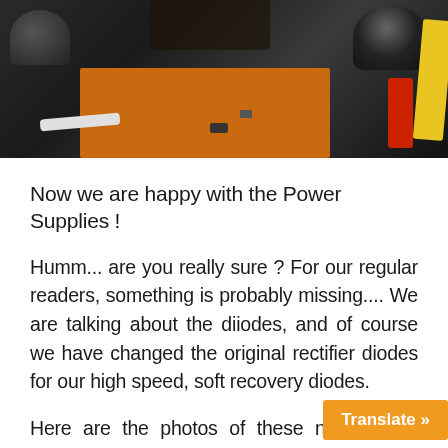[Figure (photo): Interior photo of electronic equipment showing a PCB board (orange), black capacitors, yellow and red wires, and various small components against a dark background.]
Now we are happy with the Power Supplies !
Humm... are you really sure ? For our regular readers, something is probably missing.... We are talking about the diiodes, and of course we have changed the original rectifier diodes for our high speed, soft recovery diodes.
Here are the photos of these new diodes installed in the CT-1440 mother